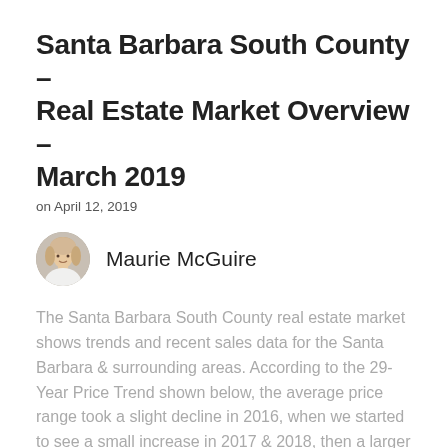Santa Barbara South County – Real Estate Market Overview – March 2019
on April 12, 2019
Maurie McGuire
The Santa Barbara South County real estate market shows trends and recent sales data for the Santa Barbara & surrounding areas. According to the 29-Year Price Trend shown below, the average price range took a slight decline in 2016, when we started to see a small increase in 2017 & 2018, then a larger increase… more